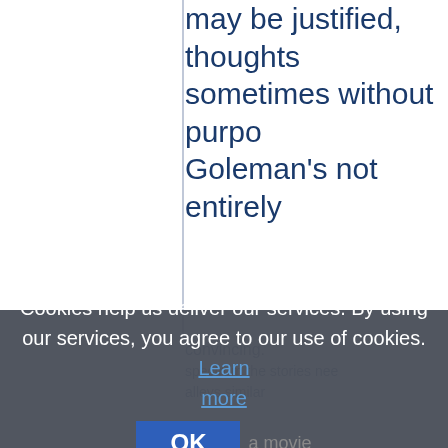may be justified, thoughts sometimes without purpose Goleman's not entirely convincing
Cookies help us deliver our services. By using our services, you agree to our use of cookies. Learn more  OK